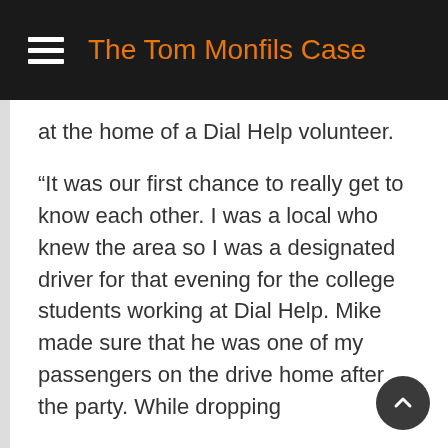The Tom Monfils Case
at the home of a Dial Help volunteer.
“It was our first chance to really get to know each other. I was a local who knew the area so I was a designated driver for that evening for the college students working at Dial Help. Mike made sure that he was one of my passengers on the drive home after the party. While dropping